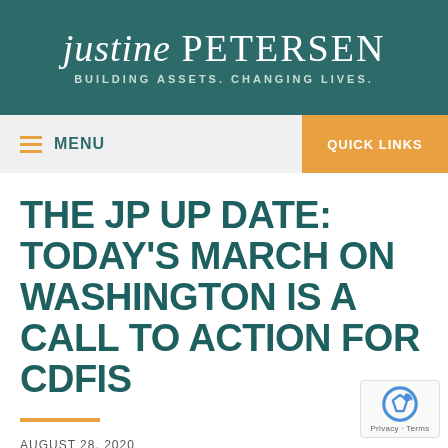justine PETERSEN — BUILDING ASSETS. CHANGING LIVES.
MENU | QUICK LINKS
THE JP UP DATE: TODAY'S MARCH ON WASHINGTON IS A CALL TO ACTION FOR CDFIS
AUGUST 28, 2020